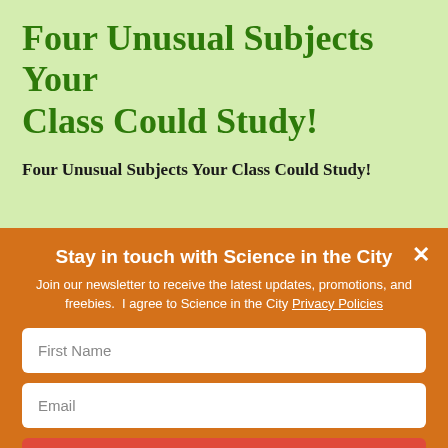Four Unusual Subjects Your Class Could Study!
Four Unusual Subjects Your Class Could Study!
Stay in touch with Science in the City
Join our newsletter to receive the latest updates, promotions, and freebies.  I agree to Science in the City Privacy Policies
First Name
Email
SUBSCRIBE